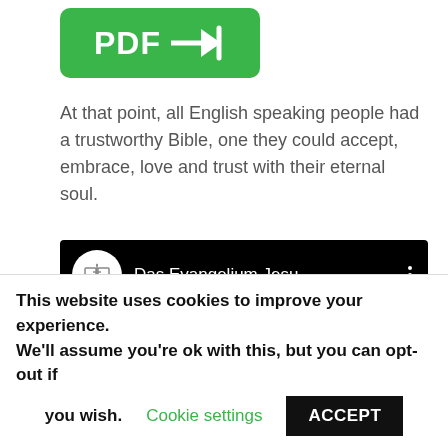[Figure (logo): Green rounded rectangle button with white text 'PDF' and a right-arrow icon pointing to a vertical bar]
At that point, all English speaking people had a trustworthy Bible, one they could accept, embrace, love and trust with their eternal soul.
[Figure (screenshot): YouTube-style video thumbnail with black background. Shows channel icon (book/sword logo in white circle) and channel name 'Das Evangelium Jesu' with three-dot menu. Video content shows a large italic number '2' in gold/cream color with a red bar at bottom.]
This website uses cookies to improve your experience. We'll assume you're ok with this, but you can opt-out if you wish. Cookie settings ACCEPT